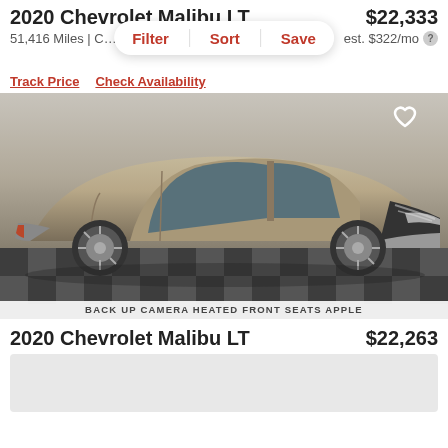2020 Chevrolet Malibu LT   $22,333
51,416 Miles | C…   est. $322/mo
Filter | Sort | Save
Track Price   Check Availability
[Figure (photo): Side profile photo of a 2020 Chevrolet Malibu LT in tan/bronze color on a checkered showroom floor. Heart/save icon in top right corner. Bottom strip reads: BACK UP CAMERA  HEATED FRONT SEATS  APPLE]
2020 Chevrolet Malibu LT   $22,263